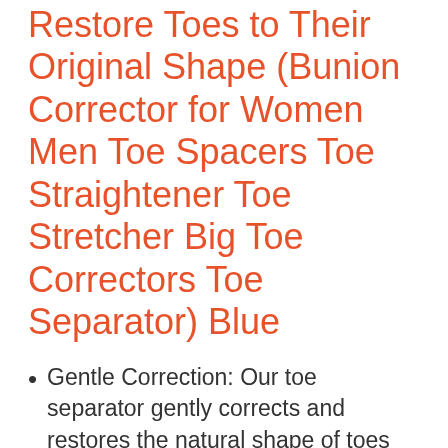Restore Toes to Their Original Shape (Bunion Corrector for Women Men Toe Spacers Toe Straightener Toe Stretcher Big Toe Correctors Toe Separator) Blue
Gentle Correction: Our toe separator gently corrects and restores the natural shape of toes and feet
Pain Relief: Gel straighteners offer relief from bunions and relax tense